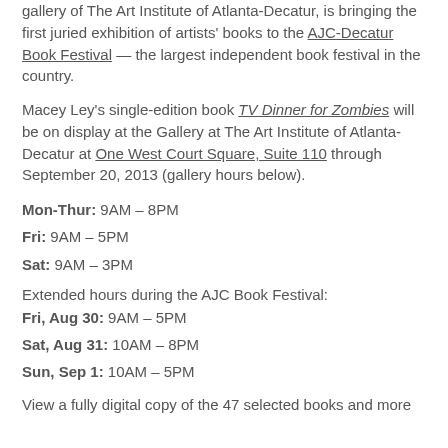gallery of The Art Institute of Atlanta-Decatur, is bringing the first juried exhibition of artists' books to the AJC-Decatur Book Festival — the largest independent book festival in the country.
Macey Ley's single-edition book TV Dinner for Zombies will be on display at the Gallery at The Art Institute of Atlanta-Decatur at One West Court Square, Suite 110 through September 20, 2013 (gallery hours below).
Mon-Thur: 9AM – 8PM
Fri: 9AM – 5PM
Sat: 9AM – 3PM
Extended hours during the AJC Book Festival:
Fri, Aug 30: 9AM – 5PM
Sat, Aug 31: 10AM – 8PM
Sun, Sep 1: 10AM – 5PM
View a fully digital copy of the 47 selected books and more information...